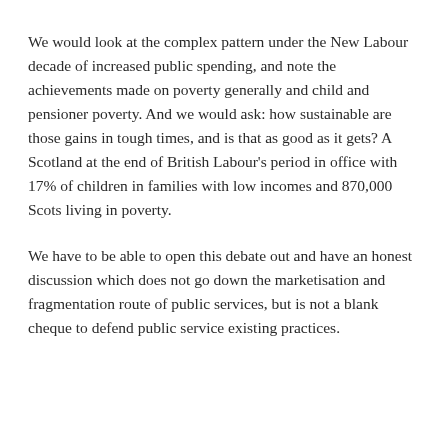We would look at the complex pattern under the New Labour decade of increased public spending, and note the achievements made on poverty generally and child and pensioner poverty. And we would ask: how sustainable are those gains in tough times, and is that as good as it gets? A Scotland at the end of British Labour's period in office with 17% of children in families with low incomes and 870,000 Scots living in poverty.
We have to be able to open this debate out and have an honest discussion which does not go down the marketisation and fragmentation route of public services, but is not a blank cheque to defend public service existing practices.